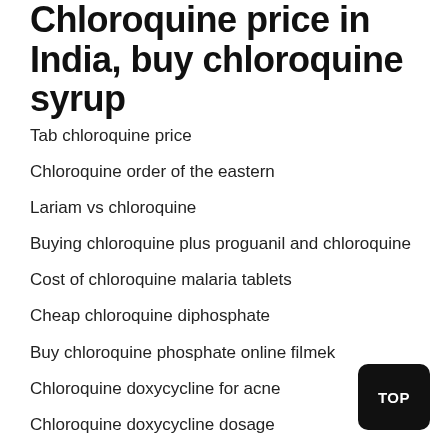Chloroquine price in India, buy chloroquine syrup
Tab chloroquine price
Chloroquine order of the eastern
Lariam vs chloroquine
Buying chloroquine plus proguanil and chloroquine
Cost of chloroquine malaria tablets
Cheap chloroquine diphosphate
Buy chloroquine phosphate online filmek
Chloroquine doxycycline for acne
Chloroquine doxycycline dosage
Chloroquine back orders
Chloroquine price boots girls
Buy chloroquine phosphate online calculator